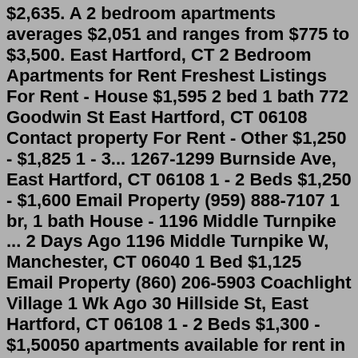$2,635. A 2 bedroom apartments averages $2,051 and ranges from $775 to $3,500. East Hartford, CT 2 Bedroom Apartments for Rent Freshest Listings For Rent - House $1,595 2 bed 1 bath 772 Goodwin St East Hartford, CT 06108 Contact property For Rent - Other $1,250 - $1,825 1 - 3... 1267-1299 Burnside Ave, East Hartford, CT 06108 1 - 2 Beds $1,250 - $1,600 Email Property (959) 888-7107 1 br, 1 bath House - 1196 Middle Turnpike ... 2 Days Ago 1196 Middle Turnpike W, Manchester, CT 06040 1 Bed $1,125 Email Property (860) 206-5903 Coachlight Village 1 Wk Ago 30 Hillside St, East Hartford, CT 06108 1 - 2 Beds $1,300 - $1,50050 apartments available for rent in East Hartford, CT. Compare prices, choose amenities, view photos and find your ideal rental with Apartment Finder. 2 bedroom apartments Available Now from $1,100 (860) 847-7153 Brendon Gold 191 High StEast Hartford, CT 06118 2 bedroom apartments from $950 Tomshir Apartments 1-39 Henderson DrEast Hartford, CT 06108 2 bedroom apartments from $1,000 54-64 Martin St 54-64